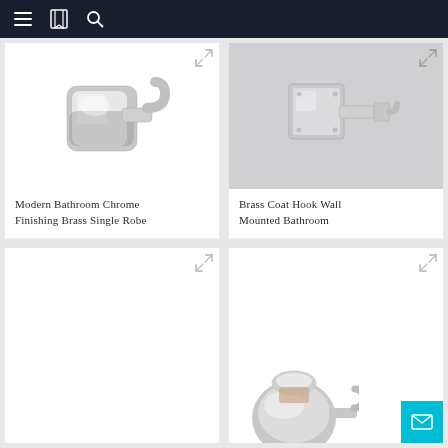Navigation bar with menu, bookmark, and search icons
[Figure (photo): Chrome bathroom robe hook, rounded square shape, polished chrome finish, white background]
Modern Bathroom Chrome Finishing Brass Single Robe
[Figure (photo): Brass coat hook wall mounted, square backplate with extending hook, chrome finish, gray background]
Brass Coat Hook Wall Mounted Bathroom
[Figure (photo): Empty white card placeholder bottom left]
[Figure (photo): Chrome robe hook product, partially visible, bottom right card]